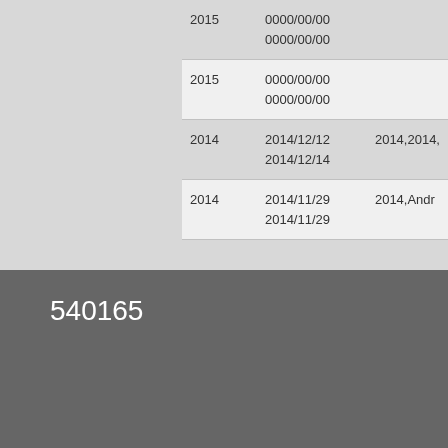| 2015 | 0000/00/00
0000/00/00 |  |
| 2015 | 0000/00/00
0000/00/00 |  |
| 2014 | 2014/12/12
2014/12/14 | 2014,2014,… |
| 2014 | 2014/11/29
2014/11/29 | 2014,Andr… |
540165